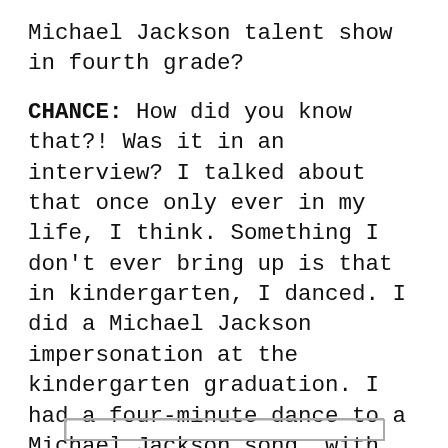Michael Jackson talent show in fourth grade?
CHANCE: How did you know that?! Was it in an interview? I talked about that once only ever in my life, I think. Something I don't ever bring up is that in kindergarten, I danced. I did a Michael Jackson impersonation at the kindergarten graduation. I had a four-minute dance to a Michael Jackson song, with the gloves, shoes, white socks, pants, jacket, fedora.
TAYLOR: Amazing.
[Figure (other): A rectangular box outline at the bottom of the page]